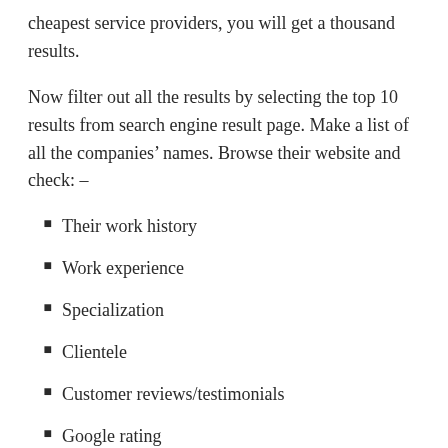cheapest service providers, you will get a thousand results.
Now filter out all the results by selecting the top 10 results from search engine result page. Make a list of all the companies’ names. Browse their website and check: –
Their work history
Work experience
Specialization
Clientele
Customer reviews/testimonials
Google rating
The data will help you to know about the service quality of the company. Shortlist the agencies that